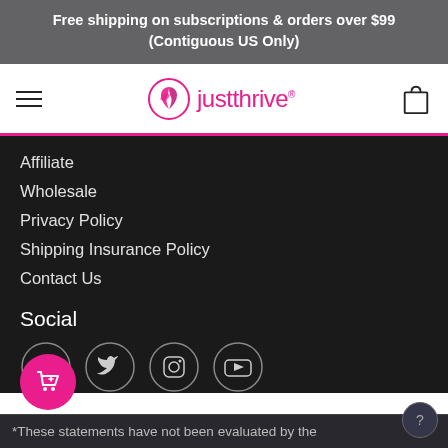Free shipping on subscriptions & orders over $99
(Contiguous US Only)
[Figure (logo): Just Thrive logo with pink leaf/sprout icon and brand name in pink]
Affiliate
Wholesale
Privacy Policy
Shipping Insurance Policy
Contact Us
Social
[Figure (illustration): Social media icons in circles: Facebook, Twitter, Instagram, YouTube]
*These statements have not been evaluated by the